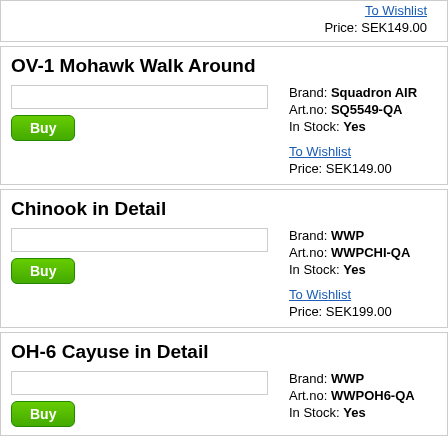To Wishlist
Price: SEK149.00
OV-1 Mohawk Walk Around
Brand: Squadron AIR
Art.no: SQ5549-QA
In Stock: Yes
To Wishlist
Price: SEK149.00
Chinook in Detail
Brand: WWP
Art.no: WWPCHI-QA
In Stock: Yes
To Wishlist
Price: SEK199.00
OH-6 Cayuse in Detail
Brand: WWP
Art.no: WWPOH6-QA
In Stock: Yes